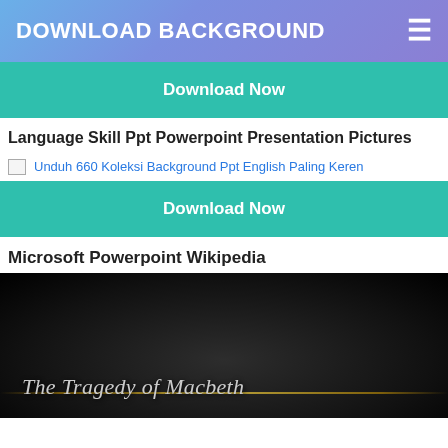DOWNLOAD BACKGROUND
Download Now
Language Skill Ppt Powerpoint Presentation Pictures
[Figure (screenshot): Broken image placeholder with alt text: Unduh 660 Koleksi Background Ppt English Paling Keren]
Download Now
Microsoft Powerpoint Wikipedia
[Figure (screenshot): Dark presentation slide with italic text 'The Tragedy of Macbeth' and a gold horizontal line accent]